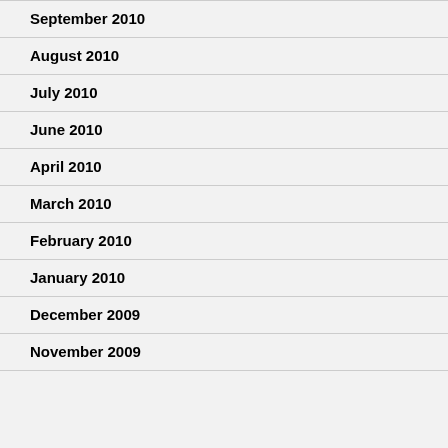September 2010
August 2010
July 2010
June 2010
April 2010
March 2010
February 2010
January 2010
December 2009
November 2009